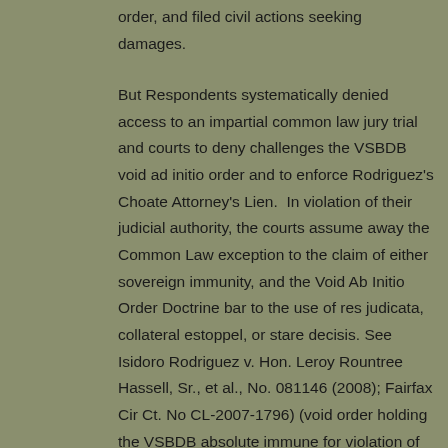order, and filed civil actions seeking damages.
But Respondents systematically denied access to an impartial common law jury trial and courts to deny challenges the VSBDB void ad initio order and to enforce Rodriguez's Choate Attorney's Lien.  In violation of their judicial authority, the courts assume away the Common Law exception to the claim of either sovereign immunity, and the Void Ab Initio Order Doctrine bar to the use of res judicata, collateral estoppel, or stare decisis. See Isidoro Rodriguez v. Hon. Leroy Rountree Hassell, Sr., et al., No. 081146 (2008); Fairfax Cir Ct. No CL-2007-1796) (void order holding the VSBDB absolute immune for violation of the VA Const. and VA Code); see Plaintiff's Ex. G1 filed with the Complaint listing the use of the VSBDB void ab initio order; see also, Isidoro Rodriguez v. John/Jane Doe of the VSBDB et al., (2013) EDVA No. 3:12-cv-00663 (the Hon. Dist. Judge John A. Gibney